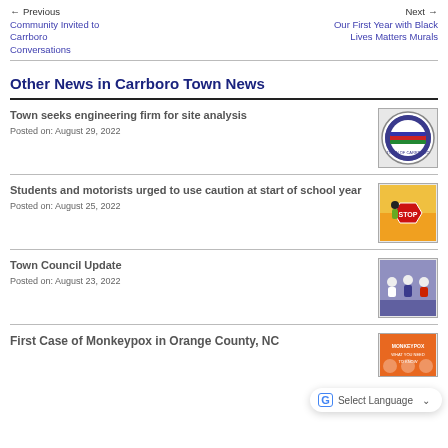← Previous
Community Invited to Carrboro Conversations
Next →
Our First Year with Black Lives Matters Murals
Other News in Carrboro Town News
Town seeks engineering firm for site analysis
Posted on: August 29, 2022
[Figure (logo): Town of Carrboro circular seal/logo]
Students and motorists urged to use caution at start of school year
Posted on: August 25, 2022
[Figure (photo): School crossing guard holding a STOP sign]
Town Council Update
Posted on: August 23, 2022
[Figure (photo): Group photo of town council members]
First Case of Monkeypox in Orange County, NC
[Figure (photo): Monkeypox informational poster]